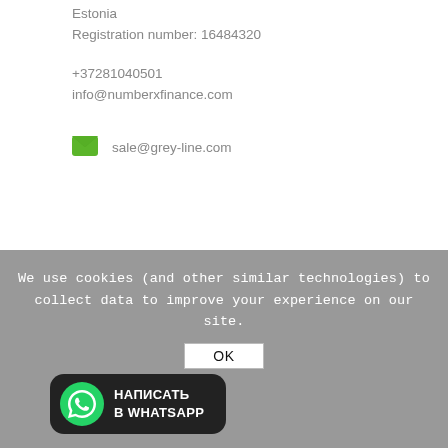Estonia
Registration number: 16484320
+37281040501
info@numberxfinance.com
sale@grey-line.com
We use cookies (and other similar technologies) to collect data to improve your experience on our site.
OK
[Figure (logo): WhatsApp button with green WhatsApp icon and Russian text НАПИСАТЬ В WHATSAPP on dark background]